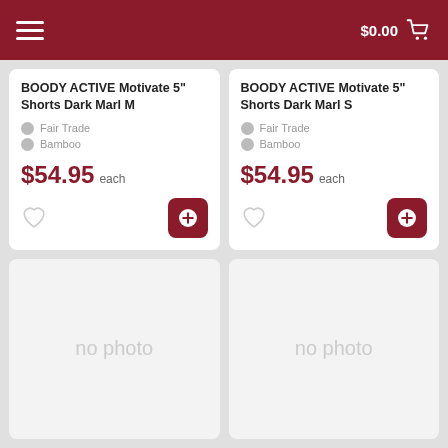$0.00
BOODY ACTIVE Motivate 5" Shorts Dark Marl M — Fair Trade — Bamboo — $54.95 each
BOODY ACTIVE Motivate 5" Shorts Dark Marl S — Fair Trade — Bamboo — $54.95 each
[Figure (other): No photo placeholder card (left)]
[Figure (other): No photo placeholder card (right)]